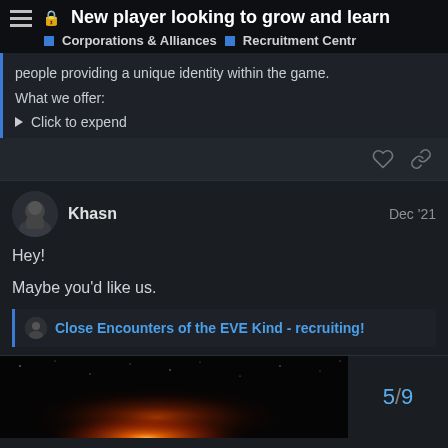New player looking to grow and learn
Corporations & Alliances   Recruitment Centre
people providing a unique identity within the game.
What we offer:
Click to expend
Khasn   Dec '21
Hey!
Maybe you'd like us.
Close Encounters of the EVE Kind - recruiting!
5 / 9